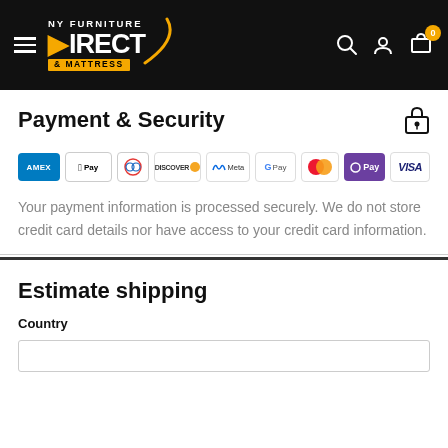[Figure (logo): NY Furniture Direct & Mattress logo with navigation header on black background including hamburger menu, search, account, and cart icons]
Payment & Security
[Figure (infographic): Payment method icons: Amex, Apple Pay, Diners Club, Discover, Meta, Google Pay, Mastercard, O Pay, Visa]
Your payment information is processed securely. We do not store credit card details nor have access to your credit card information.
Estimate shipping
Country